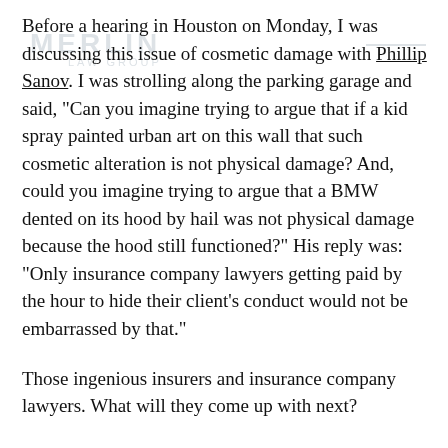Before a hearing in Houston on Monday, I was discussing this issue of cosmetic damage with Phillip Sanov. I was strolling along the parking garage and said, "Can you imagine trying to argue that if a kid spray painted urban art on this wall that such cosmetic alteration is not physical damage? And, could you imagine trying to argue that a BMW dented on its hood by hail was not physical damage because the hood still functioned?" His reply was: "Only insurance company lawyers getting paid by the hour to hide their client's conduct would not be embarrassed by that."
Those ingenious insurers and insurance company lawyers. What will they come up with next?
Tags: Hail, Insurance, Physical Damage, United Policyholders